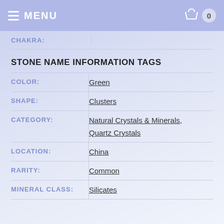MENU | 0
| Field | Value |
| --- | --- |
| CHAKRA: |  |
| COLOR: | Green |
| SHAPE: | Clusters |
| CATEGORY: | Natural Crystals & Minerals, Quartz Crystals |
| LOCATION: | China |
| RARITY: | Common |
| MINERAL CLASS: | Silicates |